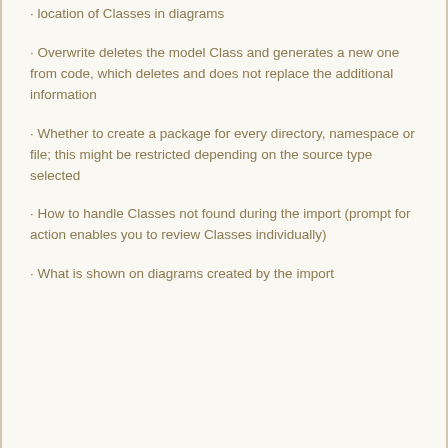· location of Classes in diagrams
· Overwrite deletes the model Class and generates a new one from code, which deletes and does not replace the additional information
· Whether to create a package for every directory, namespace or file; this might be restricted depending on the source type selected
· How to handle Classes not found during the import (prompt for action enables you to review Classes individually)
· What is shown on diagrams created by the import